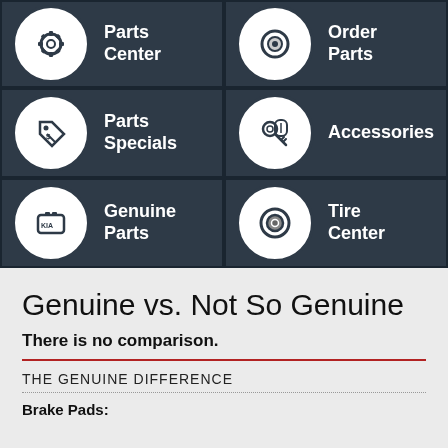[Figure (infographic): Grid of six Kia parts/services buttons with icons: Parts Center, Order Parts, Parts Specials, Accessories, Genuine Parts, Tire Center]
Genuine vs. Not So Genuine
There is no comparison.
THE GENUINE DIFFERENCE
Brake Pads: